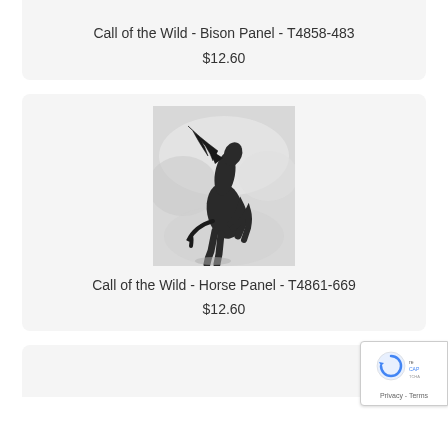Call of the Wild - Bison Panel - T4858-483
$12.60
[Figure (photo): A black horse rearing up on its hind legs against a misty, light grey background with flowing mane and dramatic pose]
Call of the Wild - Horse Panel - T4861-669
$12.60
[Figure (logo): Google reCAPTCHA badge with Privacy and Terms links]